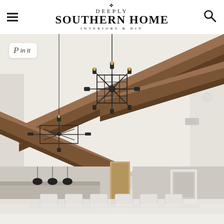Deeply Southern Home — Interiors & DIY
[Figure (photo): Interior photo of a room with high vaulted white ceiling featuring exposed dark wood beams. Two black geometric/industrial-style chandeliers hang from the ceiling — a larger one in the foreground center and a smaller one in the background left. The lower portion of the image shows a glimpse of a dining area with white chairs and another living/dining space with light decor. A 'Pin it' button overlay appears in the upper left corner of the photo.]